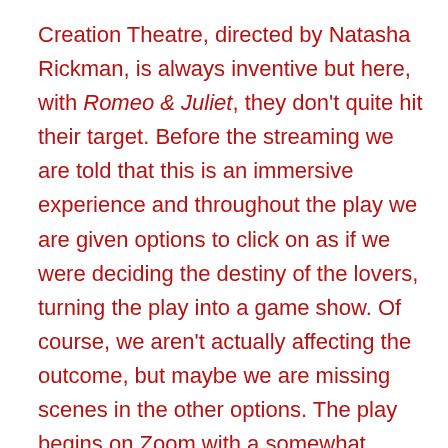Creation Theatre, directed by Natasha Rickman, is always inventive but here, with Romeo & Juliet, they don't quite hit their target. Before the streaming we are told that this is an immersive experience and throughout the play we are given options to click on as if we were deciding the destiny of the lovers, turning the play into a game show. Of course, we aren't actually affecting the outcome, but maybe we are missing scenes in the other options. The play begins on Zoom with a somewhat psychedelic buildup to the fateful meeting at the Capulets' party, but after the interval, the presentation moves to a